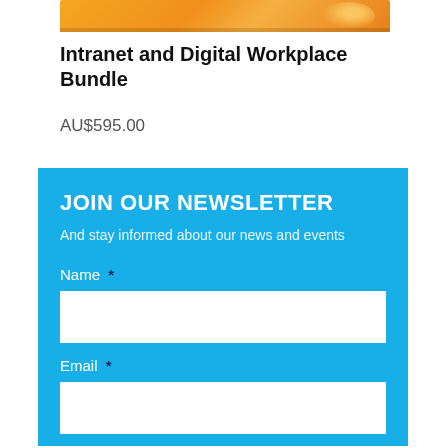[Figure (illustration): Top portion of a product bundle image with orange/yellow background, partially cropped]
Intranet and Digital Workplace Bundle
AU$595.00
JOIN OUR NEWSLETTER
And stay informed about our news and events
Name  *
Email  *